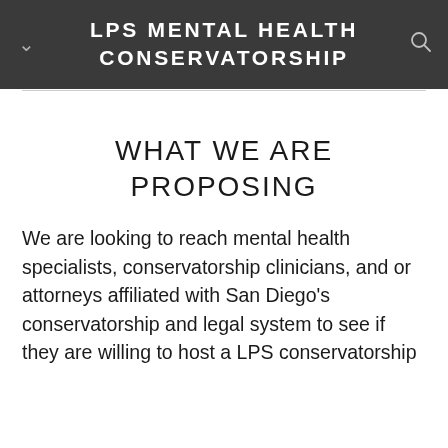LPS MENTAL HEALTH CONSERVATORSHIP
WHAT WE ARE PROPOSING
We are looking to reach mental health specialists, conservatorship clinicians, and or attorneys affiliated with San Diego's conservatorship and legal system to see if they are willing to host a LPS conservatorship